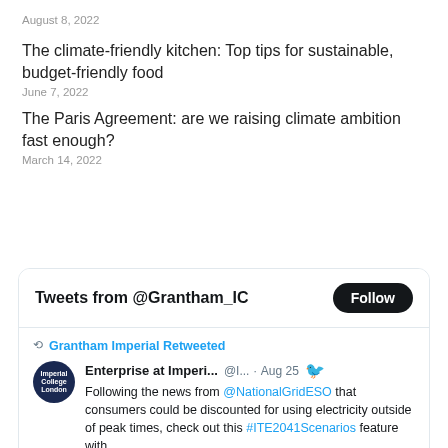August 8, 2022
The climate-friendly kitchen: Top tips for sustainable, budget-friendly food
June 7, 2022
The Paris Agreement: are we raising climate ambition fast enough?
March 14, 2022
[Figure (screenshot): Twitter widget showing tweets from @Grantham_IC with a Follow button, and a retweet from Enterprise at Imperi... (@I...) on Aug 25 about @NationalGridESO news that consumers could be discounted for using electricity outside of peak times, referencing #ITE2041Scenarios]